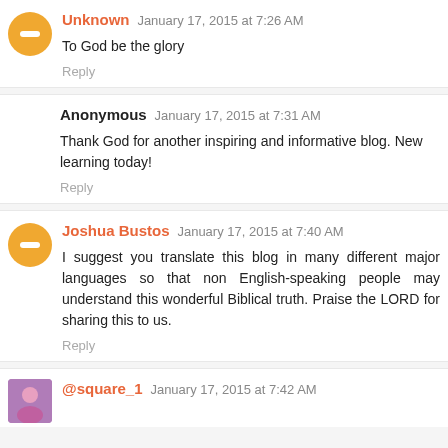Unknown January 17, 2015 at 7:26 AM
To God be the glory
Reply
Anonymous January 17, 2015 at 7:31 AM
Thank God for another inspiring and informative blog. New learning today!
Reply
Joshua Bustos January 17, 2015 at 7:40 AM
I suggest you translate this blog in many different major languages so that non English-speaking people may understand this wonderful Biblical truth. Praise the LORD for sharing this to us.
Reply
@square_1 January 17, 2015 at 7:42 AM